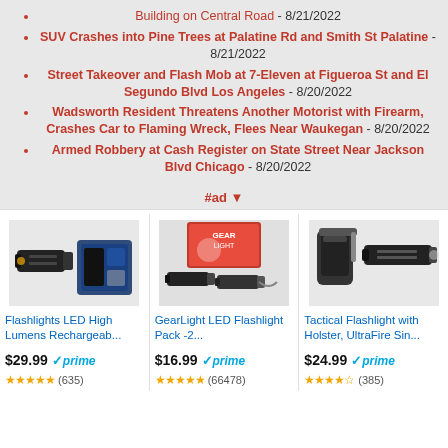Building on Central Road - 8/21/2022
SUV Crashes into Pine Trees at Palatine Rd and Smith St Palatine - 8/21/2022
Street Takeover and Flash Mob at 7-Eleven at Figueroa St and El Segundo Blvd Los Angeles - 8/20/2022
Wadsworth Resident Threatens Another Motorist with Firearm, Crashes Car to Flaming Wreck, Flees Near Waukegan - 8/20/2022
Armed Robbery at Cash Register on State Street Near Jackson Blvd Chicago - 8/20/2022
#ad ▼
[Figure (photo): Flashlight LED product photo with carrying case]
Flashlights LED High Lumens Rechargeab...
$29.99 prime
★★★★★ (635)
[Figure (photo): GearLight LED Flashlight Pack product photo with box]
GearLight LED Flashlight Pack -2...
$16.99 prime
★★★★★ (66478)
[Figure (photo): Tactical Flashlight with holster product photo]
Tactical Flashlight with Holster, UltraFire Sin...
$24.99 prime
★★★★☆ (385)